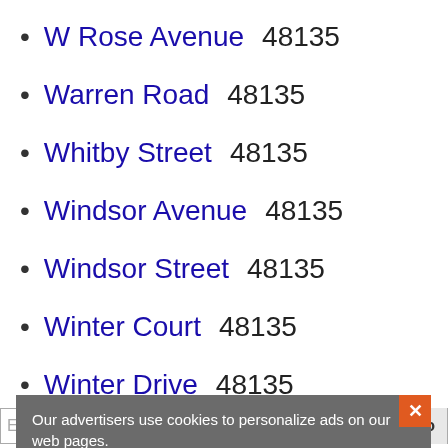W Rose Avenue  48135
Warren Road  48135
Whitby Street  48135
Windsor Avenue  48135
Windsor Street  48135
Winter Court  48135
Winter Drive  48135
Enter Address or Place...
Our advertisers use cookies to personalize ads on our web pages.
ACCEPT
DECLINE
Details